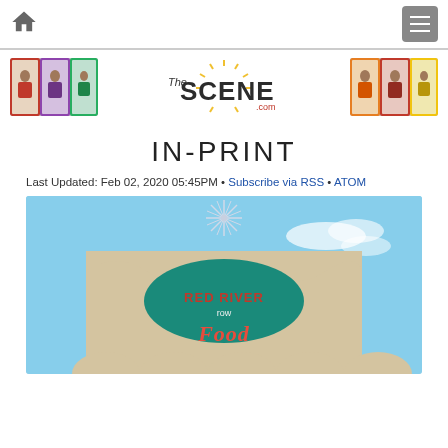Home | Menu
[Figure (illustration): The Scene magazine banner with magazine covers on left and right, and 'The SCENE' logo in the center]
IN-PRINT
Last Updated: Feb 02, 2020 05:45PM • Subscribe via RSS • ATOM
[Figure (photo): Photo of Red River Food sign on a building exterior against a blue sky, with a starburst decoration on top]